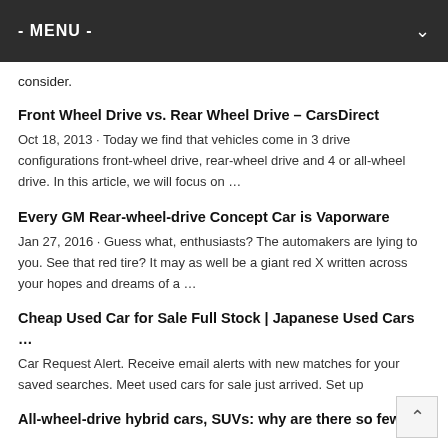- MENU -
consider.
Front Wheel Drive vs. Rear Wheel Drive – CarsDirect
Oct 18, 2013 · Today we find that vehicles come in 3 drive configurations front-wheel drive, rear-wheel drive and 4 or all-wheel drive. In this article, we will focus on …
Every GM Rear-wheel-drive Concept Car is Vaporware
Jan 27, 2016 · Guess what, enthusiasts? The automakers are lying to you. See that red tire? It may as well be a giant red X written across your hopes and dreams of a …
Cheap Used Car for Sale Full Stock | Japanese Used Cars …
Car Request Alert. Receive email alerts with new matches for your saved searches. Meet used cars for sale just arrived. Set up
All-wheel-drive hybrid cars, SUVs: why are there so few?